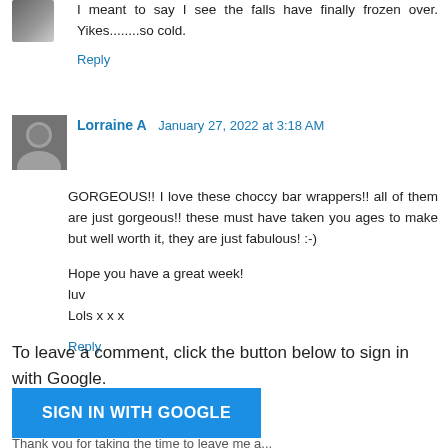I meant to say I see the falls have finally frozen over. Yikes........so cold.
Reply
Lorraine A  January 27, 2022 at 3:18 AM
GORGEOUS!! I love these choccy bar wrappers!! all of them are just gorgeous!! these must have taken you ages to make but well worth it, they are just fabulous! :-)
Hope you have a great week!
luv
Lols x x x
Reply
To leave a comment, click the button below to sign in with Google.
SIGN IN WITH GOOGLE
Thank you for taking the time to leave me a...